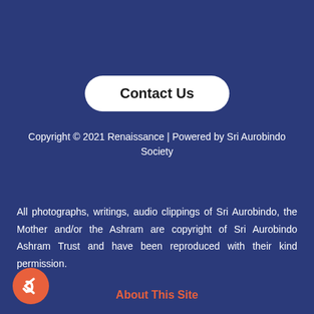[Figure (other): White rounded button labeled 'Contact Us' on dark blue background]
Copyright © 2021 Renaissance | Powered by Sri Aurobindo Society
All photographs, writings, audio clippings of Sri Aurobindo, the Mother and/or the Ashram are copyright of Sri Aurobindo Ashram Trust and have been reproduced with their kind permission.
[Figure (other): Orange circular back/share arrow button in bottom-left corner]
About This Site